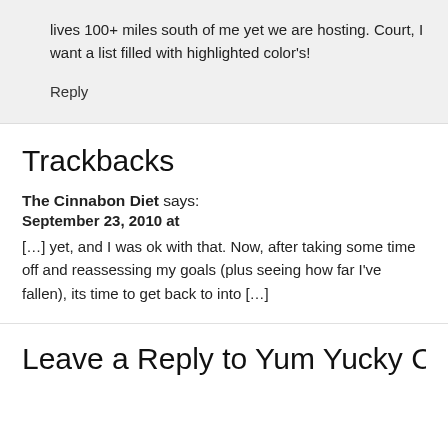lives 100+ miles south of me yet we are hosting. Court, I want a list filled with highlighted color's!
Reply
Trackbacks
The Cinnabon Diet says:
September 23, 2010 at
[…] yet, and I was ok with that. Now, after taking some time off and reassessing my goals (plus seeing how far I've fallen), its time to get back to into […]
Leave a Reply to Yum Yucky Cancel